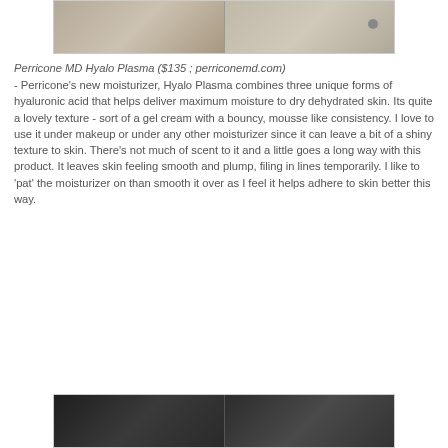[Figure (photo): Two side-by-side photos of Perricone MD Hyalo Plasma product packaging/labels on a surface]
Perricone MD Hyalo Plasma ($135 ; perriconemd.com) - Perricone's new moisturizer, Hyalo Plasma combines three unique forms of hyaluronic acid that helps deliver maximum moisture to dry dehydrated skin. Its quite a lovely texture - sort of a gel cream with a bouncy, mousse like consistency. I love to use it under makeup or under any other moisturizer since it can leave a bit of a shiny texture to skin. There's not much of scent to it and a little goes a long way with this product. It leaves skin feeling smooth and plump, filing in lines temporarily. I like to 'pat' the moisturizer on than smooth it over as I feel it helps adhere to skin better this way.
[Figure (photo): Two side-by-side photos of a dark/black skincare product container]